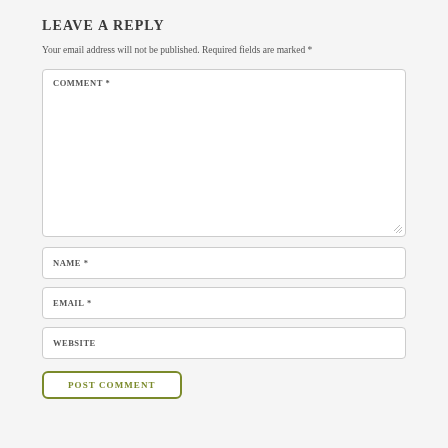LEAVE A REPLY
Your email address will not be published. Required fields are marked *
COMMENT *
NAME *
EMAIL *
WEBSITE
POST COMMENT